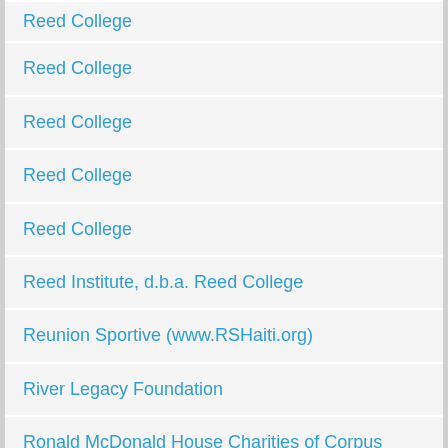| Reed College |
| Reed College |
| Reed College |
| Reed College |
| Reed College |
| Reed Institute, d.b.a. Reed College |
| Reunion Sportive (www.RSHaiti.org) |
| River Legacy Foundation |
| Ronald McDonald House Charities of Corpus Christi |
| Rothko Chapel |
| Rothko Chapel |